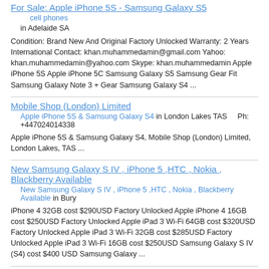For Sale: Apple iPhone 5S - Samsung Galaxy S5
cell phones in Adelaide SA
Condition: Brand New And Original Factory Unlocked Warranty: 2 Years International Contact: khan.muhammedamin@gmail.com Yahoo: khan.muhammedamin@yahoo.com Skype: khan.muhammedamin Apple iPhone 5S Apple iPhone 5C Samsung Galaxy S5 Samsung Gear Fit Samsung Galaxy Note 3 + Gear Samsung Galaxy S4 ...
Mobile Shop (London) Limited
Apple iPhone 5S & Samsung Galaxy S4 in London Lakes TAS    Ph: +447024014338
Apple iPhone 5S & Samsung Galaxy S4, Mobile Shop (London) Limited, London Lakes, TAS ...
New Samsung Galaxy S IV , iPhone 5 ,HTC , Nokia , Blackberry Available
New Samsung Galaxy S IV , iPhone 5 ,HTC , Nokia , Blackberry Available in Bury
iPhone 4 32GB cost $290USD Factory Unlocked Apple iPhone 4 16GB cost $250USD Factory Unlocked Apple iPad 3 Wi-Fi 64GB cost $320USD Factory Unlocked Apple iPad 3 Wi-Fi 32GB cost $285USD Factory Unlocked Apple iPad 3 Wi-Fi 16GB cost $250USD Samsung Galaxy S IV (S4) cost $400 USD Samsung Galaxy ...
bernard